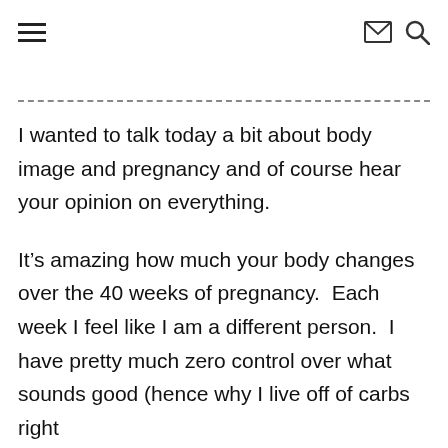≡  ✉ 🔍
I wanted to talk today a bit about body image and pregnancy and of course hear your opinion on everything.
It's amazing how much your body changes over the 40 weeks of pregnancy.  Each week I feel like I am a different person.  I have pretty much zero control over what sounds good (hence why I live off of carbs right now) or pretty much anything else during pregnancy!